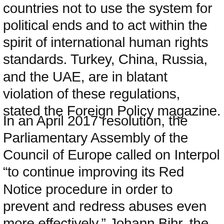countries not to use the system for political ends and to act within the spirit of international human rights standards. Turkey, China, Russia, and the UAE, are in blatant violation of these regulations, stated the Foreign Policy magazine.
In an April 2017 resolution, the Parliamentary Assembly of the Council of Europe called on Interpol “to continue improving its Red Notice procedure in order to prevent and redress abuses even more effectively.” Johann Bihr, the head of Reporters Without Borders’ Eastern Europe and Central Asia desk, stated that “dozens of Turkish journalists have had to flee abroad since the coup attempt in Turkey in July 2016. But like other exile journalists all over the